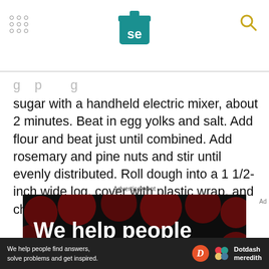Serious Eats header with logo and navigation
sugar with a handheld electric mixer, about 2 minutes. Beat in egg yolks and salt. Add flour and beat just until combined. Add rosemary and pine nuts and stir until evenly distributed. Roll dough into a 1 1/2-inch wide log, cover with plastic wrap, and chill for two hours in the refrigerator.
Advertisement
[Figure (illustration): Advertisement banner with dark background and red dot pattern. Text reads 'We help people find answers, solve problems']
We help people find answers, solve problems and get inspired. Dotdash meredith